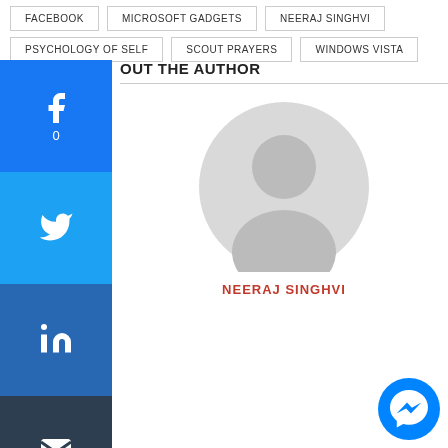FACEBOOK
MICROSOFT GADGETS
NEERAJ SINGHVI
PSYCHOLOGY OF SELF
SCOUT PRAYERS
WINDOWS VISTA
[Figure (infographic): Social share buttons sidebar: Facebook (0 shares), Twitter, LinkedIn, Email, More (+)]
ABOUT THE AUTHOR
[Figure (photo): Generic grey avatar/profile placeholder image — circular, showing silhouette of a person]
NEERAJ SINGHVI
[Figure (logo): Facebook Messenger chat bubble icon, circular teal/blue]